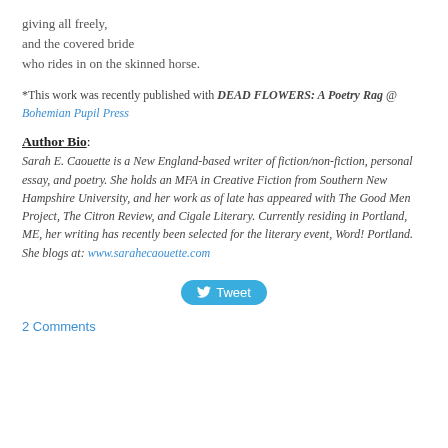giving all freely,
and the covered bride
who rides in on the skinned horse.
*This work was recently published with DEAD FLOWERS: A Poetry Rag @ Bohemian Pupil Press
Author Bio:
Sarah E. Caouette is a New England-based writer of fiction/non-fiction, personal essay, and poetry. She holds an MFA in Creative Fiction from Southern New Hampshire University, and her work as of late has appeared with The Good Men Project, The Citron Review, and Cigale Literary. Currently residing in Portland, ME, her writing has recently been selected for the literary event, Word! Portland. She blogs at: www.sarahecaouette.com
Tweet
2 Comments